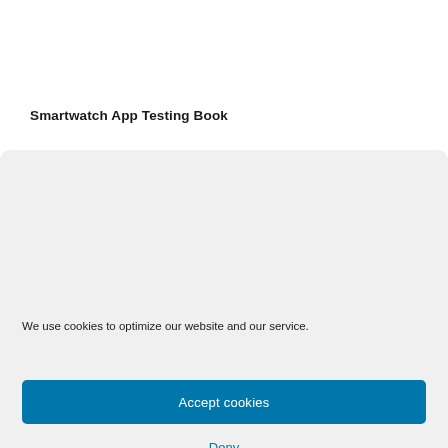Smartwatch App Testing Book
We use cookies to optimize our website and our service.
Accept cookies
Deny
View preferences
Cookie Policy   Privacy Policy   Imprint